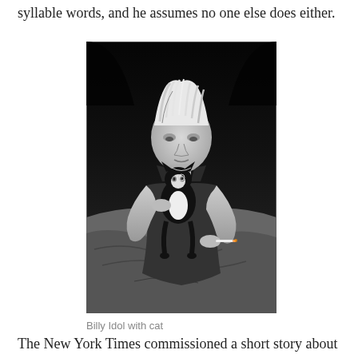syllable words, and he assumes no one else does either.
[Figure (photo): Black and white photograph of Billy Idol sitting on a bed, holding a black and white cat up with both hands, looking down at it. He is wearing a sleeveless shirt and has bleached spiky hair. A cigarette is visible in his right hand.]
Billy Idol with cat
The New York Times commissioned a short story about